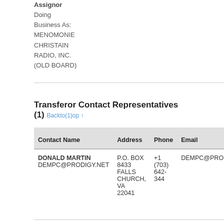Assignor
Doing
Business As:
MENOMONIE
CHRISTAIN
RADIO, INC.
(OLD BOARD)
Transferor Contact Representatives (1)
| Contact Name | Address | Phone | Email |
| --- | --- | --- | --- |
| DONALD MARTIN
DEMPC@PRODIGY.NET | P.O. BOX
8433
FALLS
CHURCH,
VA
22041 | +1
(703)
642-
344 | DEMPC@PRODIGY. |